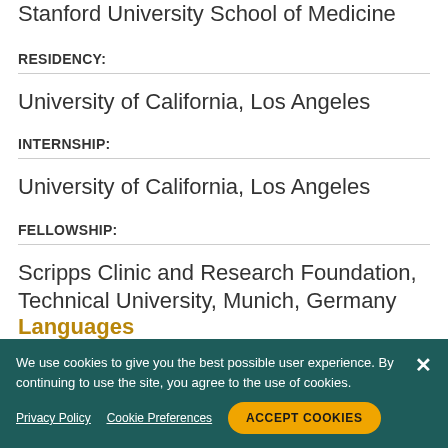Stanford University School of Medicine
RESIDENCY:
University of California, Los Angeles
INTERNSHIP:
University of California, Los Angeles
FELLOWSHIP:
Scripps Clinic and Research Foundation, Technical University, Munich, Germany
Languages
We use cookies to give you the best possible user experience. By continuing to use the site, you agree to the use of cookies.
Privacy Policy  Cookie Preferences  ACCEPT COOKIES